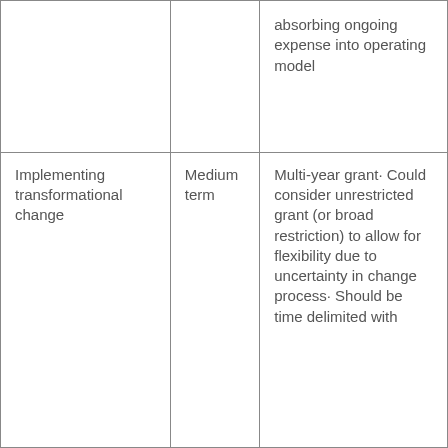|  |  | absorbing ongoing expense into operating model |
| Implementing transformational change | Medium term | Multi-year grant· Could consider unrestricted grant (or broad restriction) to allow for flexibility due to uncertainty in change process· Should be time delimited with |